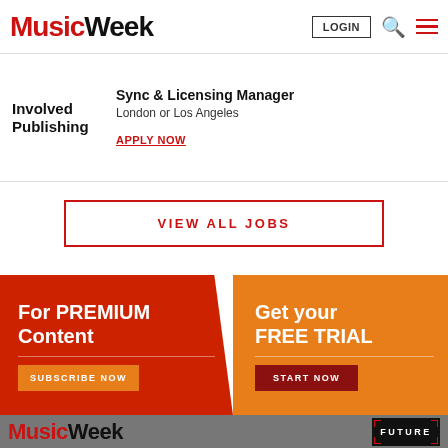Music Week
Sync & Licensing Manager
London or Los Angeles
Involved Publishing
APPLY NOW
VIEW ALL JOBS
For PREMIUM Content
SUBSCRIBE NOW
Get your FREE TRIAL
START NOW
Music Week | FUTURE